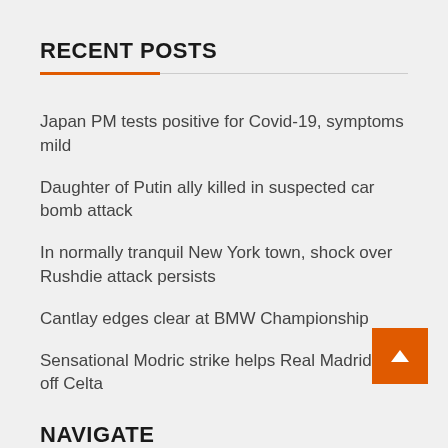RECENT POSTS
Japan PM tests positive for Covid-19, symptoms mild
Daughter of Putin ally killed in suspected car bomb attack
In normally tranquil New York town, shock over Rushdie attack persists
Cantlay edges clear at BMW Championship
Sensational Modric strike helps Real Madrid see off Celta
NAVIGATE